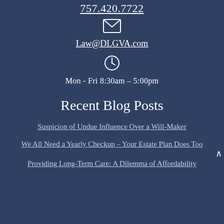757.420.7722
[Figure (other): Envelope / email icon]
Law@DLGVA.com
[Figure (other): Clock icon]
Mon - Fri 8:30am – 5:00pm
Recent Blog Posts
Suspicion of Undue Influence Over a Will-Maker
We All Need a Yearly Checkup – Your Estate Plan Does Too
Providing Long-Term Care: A Dilemma of Affordability